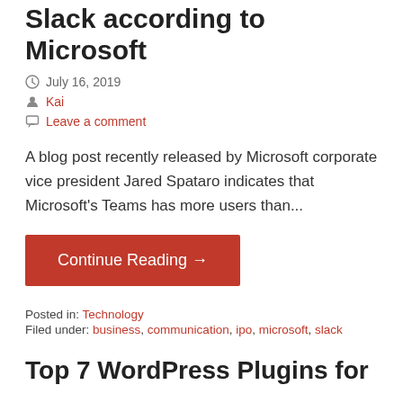Slack according to Microsoft
July 16, 2019
Kai
Leave a comment
A blog post recently released by Microsoft corporate vice president Jared Spataro indicates that Microsoft's Teams has more users than...
Continue Reading →
Posted in: Technology
Filed under: business, communication, ipo, microsoft, slack
Top 7 WordPress Plugins for